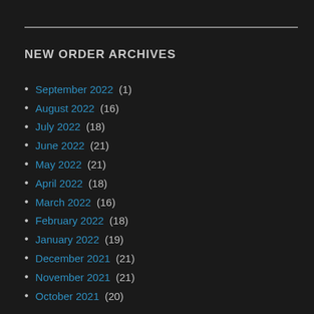NEW ORDER ARCHIVES
September 2022 (1)
August 2022 (16)
July 2022 (18)
June 2022 (21)
May 2022 (21)
April 2022 (18)
March 2022 (16)
February 2022 (18)
January 2022 (19)
December 2021 (21)
November 2021 (21)
October 2021 (20)